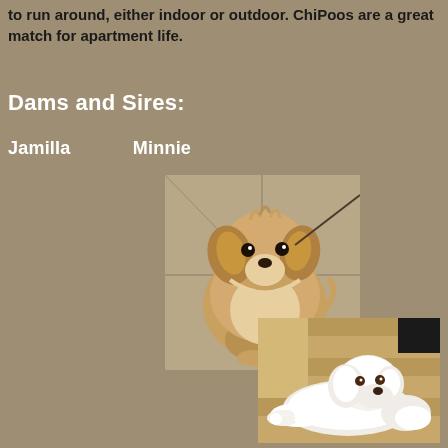to run around, either indoor or outdoor. ChiPoos are a great match for apartment life.
Dams and Sires:
Jamilla          Minnie
[Figure (photo): A fluffy golden-brown Chihuahua-type dog sitting on tile floor, looking up at camera]
[Figure (photo): A white poodle puppy lying on a wooden deck in sunlight]